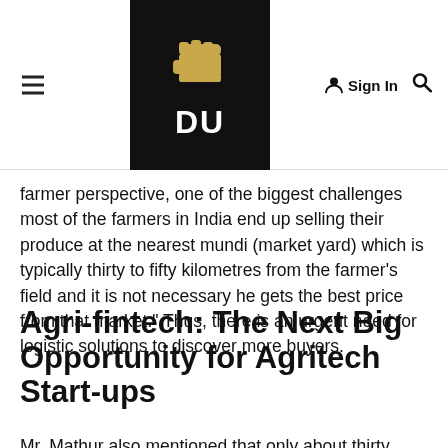DU — Sign In
farmer perspective, one of the biggest challenges most of the farmers in India end up selling their produce at the nearest mundi (market yard) which is typically thirty to fifty kilometres from the farmer’s field and it is not necessary he gets the best price from that market.” Thus, there is an urgent need for logistic solutions to discover more buyers.
Agri-fintech: The Next Big Opportunity for Agritech Start-ups
Mr. Mathur also mentioned that only about thirty